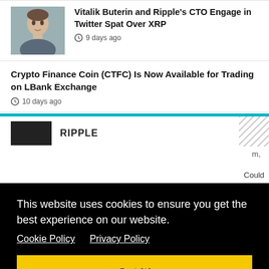[Figure (photo): Headshot photo of Vitalik Buterin]
Vitalik Buterin and Ripple’s CTO Engage in Twitter Spat Over XRP
9 days ago
Crypto Finance Coin (CTFC) Is Now Available for Trading on LBank Exchange
10 days ago
[Figure (screenshot): Ripple section header with thumbnail and RIPPLE label]
This website uses cookies to ensure you get the best experience on our website.
Cookie Policy   Privacy Policy
Got it!